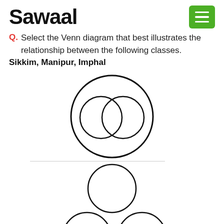Sawaal
Select the Venn diagram that best illustrates the relationship between the following classes.
Sikkim, Manipur, Imphal
[Figure (other): Venn diagram option 1: A large outer circle containing two overlapping (intersecting) circles inside it.]
[Figure (other): Venn diagram option 2: One circle on top, two separate circles below it, all three separate/non-overlapping.]
[Figure (other): Venn diagram option 3 (partially visible): A circle at the bottom.]